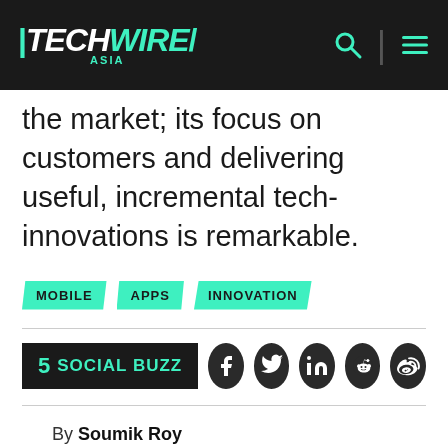TECHWIRE ASIA
the market; its focus on customers and delivering useful, incremental tech-innovations is remarkable.
MOBILE
APPS
INNOVATION
5 SOCIAL BUZZ
By Soumik Roy
@soumikroy